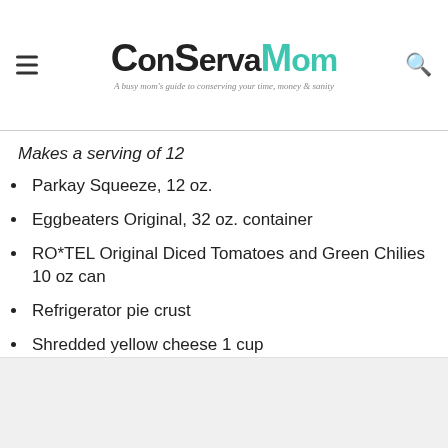ConservaMom – A busy mom's guide to conserving your time, money & sanity
Makes a serving of 12
Parkay Squeeze, 12 oz.
Eggbeaters Original, 32 oz. container
RO*TEL Original Diced Tomatoes and Green Chilies 10 oz can
Refrigerator pie crust
Shredded yellow cheese 1 cup
Tater Tots (12)